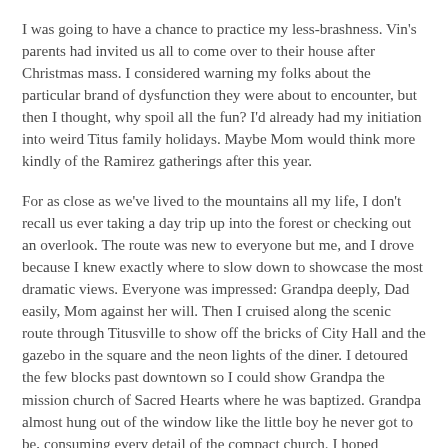I was going to have a chance to practice my less-brashness. Vin's parents had invited us all to come over to their house after Christmas mass. I considered warning my folks about the particular brand of dysfunction they were about to encounter, but then I thought, why spoil all the fun? I'd already had my initiation into weird Titus family holidays. Maybe Mom would think more kindly of the Ramirez gatherings after this year.
For as close as we've lived to the mountains all my life, I don't recall us ever taking a day trip up into the forest or checking out an overlook. The route was new to everyone but me, and I drove because I knew exactly where to slow down to showcase the most dramatic views. Everyone was impressed: Grandpa deeply, Dad easily, Mom against her will. Then I cruised along the scenic route through Titusville to show off the bricks of City Hall and the gazebo in the square and the neon lights of the diner. I detoured the few blocks past downtown so I could show Grandpa the mission church of Sacred Hearts where he was baptized. Grandpa almost hung out of the window like the little boy he never got to be, consuming every detail of the compact church. I hoped